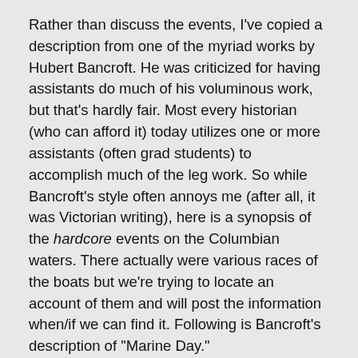Rather than discuss the events, I've copied a description from one of the myriad works by Hubert Bancroft. He was criticized for having assistants do much of his voluminous work, but that's hardly fair. Most every historian (who can afford it) today utilizes one or more assistants (often grad students) to accomplish much of the leg work. So while Bancroft's style often annoys me (after all, it was Victorian writing), here is a synopsis of the hardcore events on the Columbian waters. There actually were various races of the boats but we're trying to locate an account of them and will post the information when/if we can find it. Following is Bancroft's description of "Marine Day."
"On the 25th of October, or marine day as it was termed (since this was virtually the end of the fair, a variety of light-hearted events took place), a parade of boats formed in four divisions, their course being